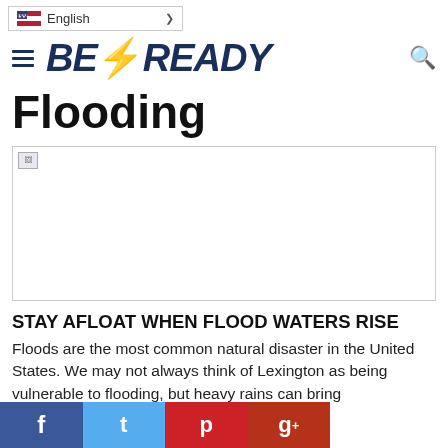English
[Figure (logo): BE READY logo with lightning bolt, hamburger menu icon, and search icon]
Flooding
[Figure (photo): Broken/missing image placeholder for flooding photo]
STAY AFLOAT WHEN FLOOD WATERS RISE
Floods are the most common natural disaster in the United States. We may not always think of Lexington as being vulnerable to flooding, but heavy rains can bring
[Figure (other): Social media share bar with Facebook, Twitter, Pinterest, and Google+ buttons]